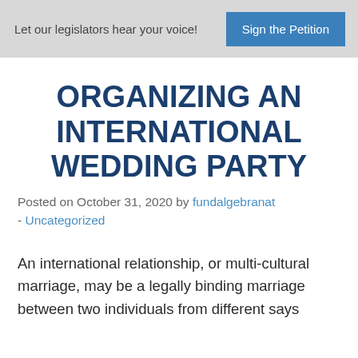Let our legislators hear your voice! | Sign the Petition
ORGANIZING AN INTERNATIONAL WEDDING PARTY
Posted on October 31, 2020 by fundalgebranat - Uncategorized
An international relationship, or multi-cultural marriage, may be a legally binding marriage between two individuals from different says